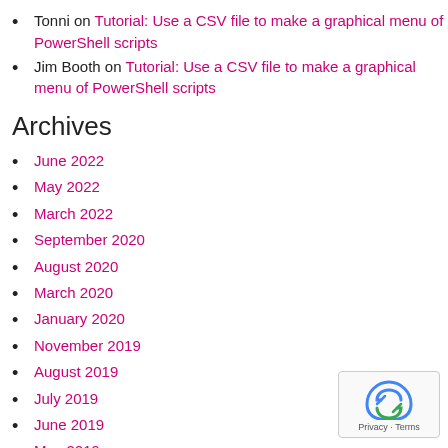Tonni on Tutorial: Use a CSV file to make a graphical menu of PowerShell scripts
Jim Booth on Tutorial: Use a CSV file to make a graphical menu of PowerShell scripts
Archives
June 2022
May 2022
March 2022
September 2020
August 2020
March 2020
January 2020
November 2019
August 2019
July 2019
June 2019
May 2019